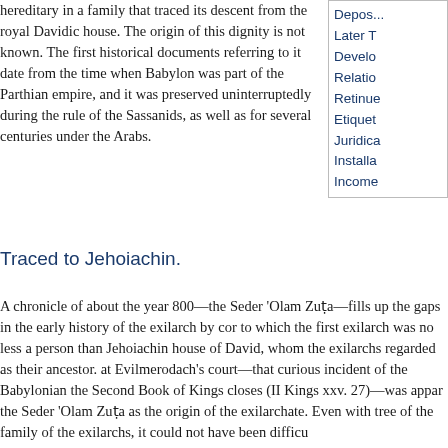hereditary in a family that traced its descent from the royal Davidic house. The origin of this dignity is not known. The first historical documents referring to it date from the time when Babylon was part of the Parthian empire, and it was preserved uninterruptedly during the rule of the Sassanids, as well as for several centuries under the Arabs.
Later T
Develo
Relatio
Retinue
Etiquet
Juridica
Installa
Income
Traced to Jehoiachin.
A chronicle of about the year 800—the Seder 'Olam Zuṭa—fills up the gaps in the early history of the exilarch by cor to which the first exilarch was no less a person than Jehoiachin house of David, whom the exilarchs regarded as their ancestor. at Evilmerodach's court—that curious incident of the Babylonian the Second Book of Kings closes (II Kings xxv. 27)—was appar the Seder 'Olam Zuṭa as the origin of the exilarchate. Even with tree of the family of the exilarchs, it could not have been difficu